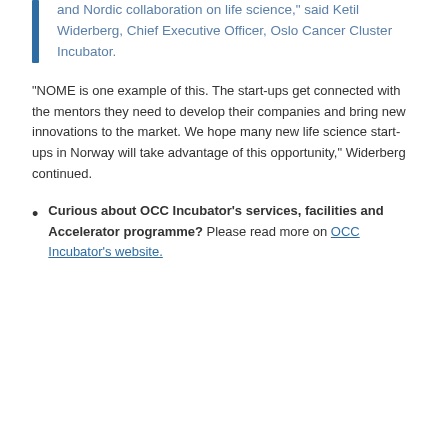and Nordic collaboration on life science," said Ketil Widerberg, Chief Executive Officer, Oslo Cancer Cluster Incubator.
“NOME is one example of this. The start-ups get connected with the mentors they need to develop their companies and bring new innovations to the market. We hope many new life science start-ups in Norway will take advantage of this opportunity,” Widerberg continued.
Curious about OCC Incubator’s services, facilities and Accelerator programme? Please read more on OCC Incubator’s website.